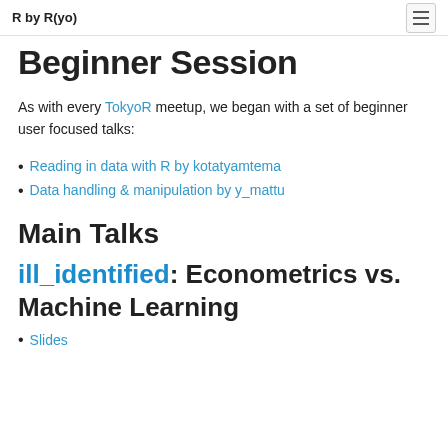R by R(yo)
Beginner Session
As with every TokyoR meetup, we began with a set of beginner user focused talks:
Reading in data with R by kotatyamtema
Data handling & manipulation by y_mattu
Main Talks
ill_identified: Econometrics vs. Machine Learning
Slides